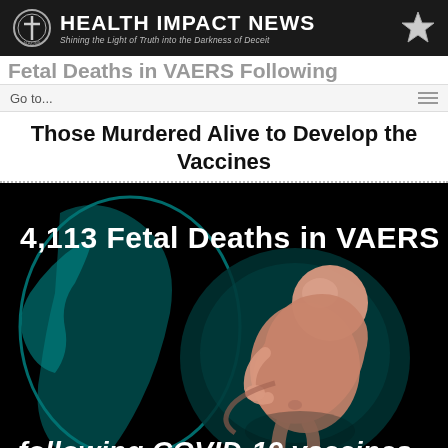HEALTH IMPACT NEWS — Shining the Light of Truth into the Darkness of Deceit
Fetal Deaths in VAERS Following
Go to...
Those Murdered Alive to Develop the Vaccines
[Figure (illustration): Medical illustration on black background showing a fetus in womb with text overlay: '4,113 Fetal Deaths in VAERS following COVID-19 vaccines']